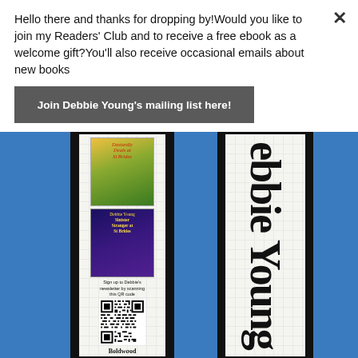Hello there and thanks for dropping by!Would you like to join my Readers' Club and to receive a free ebook as a welcome gift?You'll also receive occasional emails about new books
Join Debbie Young's mailing list here!
[Figure (photo): Photo of two bookmarks on a blue background. Left bookmark shows two book covers ('Dastardly Deeds at St Brides' and 'Sinister Stranger at St Brides' by Debbie Young), a QR code with text 'Sign up to Debbie's newsletter by scanning this QR code', and the Boldwood publisher logo. Right bookmark shows 'ebbie Young' text rotated vertically.]